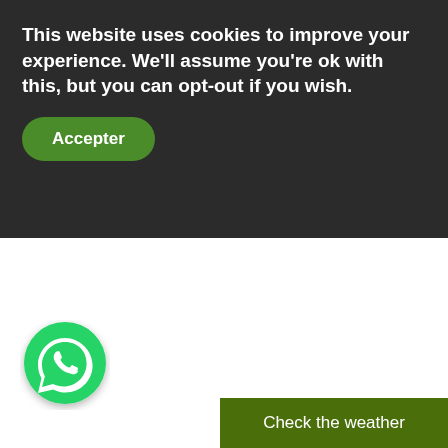This website uses cookies to improve your experience. We'll assume you're ok with this, but you can opt-out if you wish.
Accepter
[Figure (logo): WhatsApp green circle icon with white speech bubble and phone handset]
Check the weather